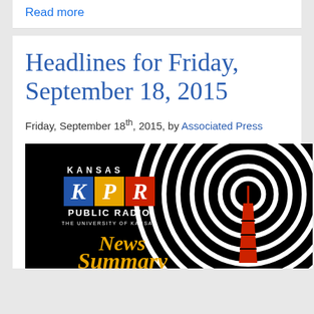Read more
Headlines for Friday, September 18, 2015
Friday, September 18th, 2015, by Associated Press
[Figure (logo): Kansas KPR Public Radio - The University of Kansas, News Summary logo. Black background with KPR block logo (blue K, yellow P, red R), white spiral radio waves, red radio tower, and 'News Summary' in gold italic script.]